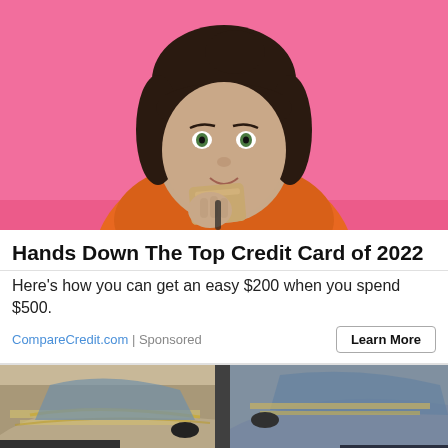[Figure (photo): Young woman with dark hair and bangs, smiling, holding a gold/tan credit card in front of her face, against a bright pink background, wearing an orange top]
Hands Down The Top Credit Card of 2022
Here’s how you can get an easy $200 when you spend $500.
CompareCredit.com | Sponsored
[Figure (photo): Dusty/dirty car hoods and windshields, showing cars with heavy dust and debris accumulation, a before/after style comparison image]